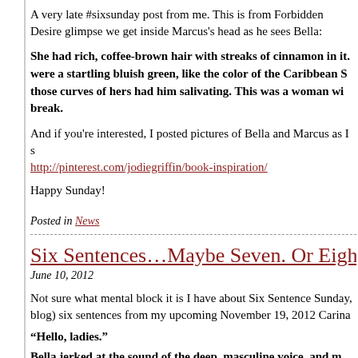A very late #sixsunday post from me. This is from Forbidden Desire glimpse we get inside Marcus's head as he sees Bella:
She had rich, coffee-brown hair with streaks of cinnamon in it. were a startling bluish green, like the color of the Caribbean S those curves of hers had him salivating. This was a woman wi break.
And if you're interested, I posted pictures of Bella and Marcus as I http://pinterest.com/jodiegriffin/book-inspiration/
Happy Sunday!
Posted in News
Six Sentences...Maybe Seven. Or Eight. Or
June 10, 2012
Not sure what mental block it is I have about Six Sentence Sunday, blog) six sentences from my upcoming November 19, 2012 Carina
“Hello, ladies.”
Bella jerked at the sound of the deep, masculine voice, and m